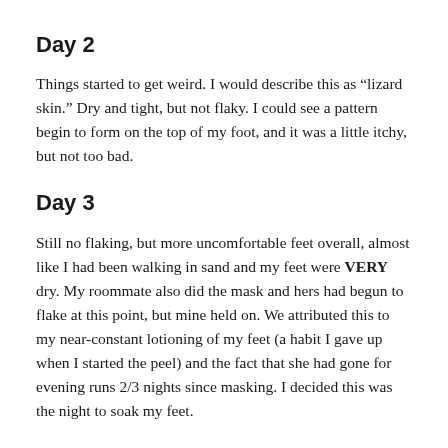Day 2
Things started to get weird. I would describe this as “lizard skin.” Dry and tight, but not flaky. I could see a pattern begin to form on the top of my foot, and it was a little itchy, but not too bad.
Day 3
Still no flaking, but more uncomfortable feet overall, almost like I had been walking in sand and my feet were VERY dry. My roommate also did the mask and hers had begun to flake at this point, but mine held on. We attributed this to my near-constant lotioning of my feet (a habit I gave up when I started the peel) and the fact that she had gone for evening runs 2/3 nights since masking. I decided this was the night to soak my feet.